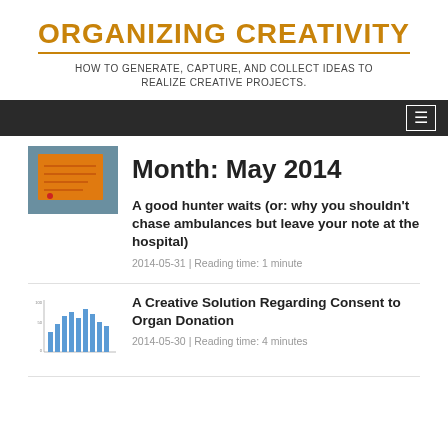ORGANIZING CREATIVITY
HOW TO GENERATE, CAPTURE, AND COLLECT IDEAS TO REALIZE CREATIVE PROJECTS.
Month: May 2014
[Figure (photo): Orange handwritten note on a window or glass surface, photographed outdoors]
A good hunter waits (or: why you shouldn't chase ambulances but leave your note at the hospital)
2014-05-31 | Reading time: 1 minute
[Figure (bar-chart): Small bar chart image showing organ donation statistics with blue bars on white background]
A Creative Solution Regarding Consent to Organ Donation
2014-05-30 | Reading time: 4 minutes